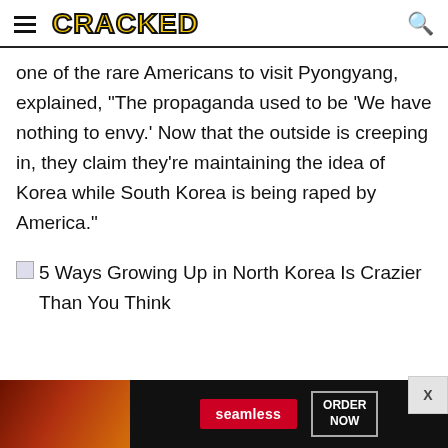CRACKED
one of the rare Americans to visit Pyongyang, explained, "The propaganda used to be 'We have nothing to envy.' Now that the outside is creeping in, they claim they're maintaining the idea of Korea while South Korea is being raped by America."
5 Ways Growing Up in North Korea Is Crazier Than You Think
[Figure (screenshot): Seamless food delivery advertisement with pizza image, red Seamless button, and ORDER NOW button]